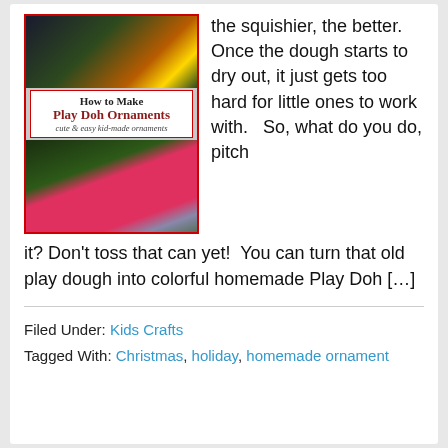[Figure (photo): Photo of Play Doh ornaments on a Christmas tree with overlay text reading 'How to Make Play Doh Ornaments — cute & easy kid-made ornaments']
the squishier, the better. Once the dough starts to dry out, it just gets too hard for little ones to work with.   So, what do you do, pitch it? Don't toss that can yet!  You can turn that old play dough into colorful homemade Play Doh […]
Filed Under: Kids Crafts
Tagged With: Christmas, holiday, homemade ornament